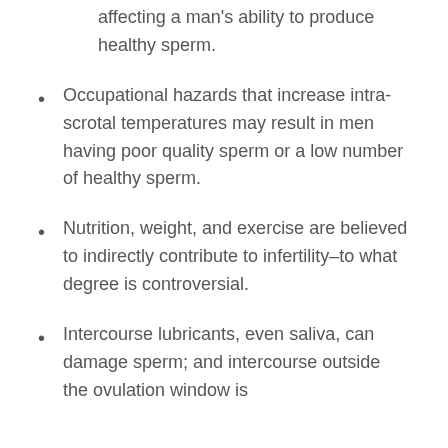affecting a man's ability to produce healthy sperm.
Occupational hazards that increase intra-scrotal temperatures may result in men having poor quality sperm or a low number of healthy sperm.
Nutrition, weight, and exercise are believed to indirectly contribute to infertility–to what degree is controversial.
Intercourse lubricants, even saliva, can damage sperm; and intercourse outside the ovulation window is